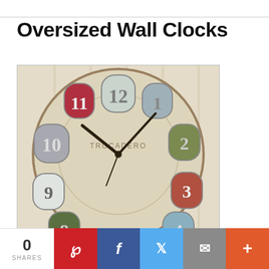Oversized Wall Clocks
[Figure (photo): A vintage-style oversized wall clock with colorful numbered tiles for each hour (1-12) against a distressed white wooden background. The clock is labeled 'TROCADERO' and has dark ornate hands. Each number is set in a differently colored arched tile panel.]
0 SHARES  [Pinterest] [Facebook] [Twitter] [Email] [+]